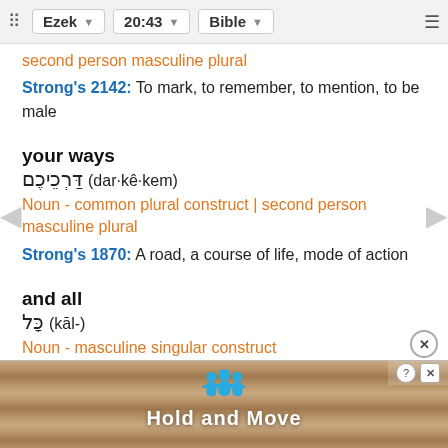Ezek  20:43  Bible
second person masculine plural
Strong's 2142: To mark, to remember, to mention, to be male
your ways
דַּרְכֵיכֶ֔ם (dar·kê·kem)
Noun - common plural construct | second person masculine plural
Strong's 1870: A road, a course of life, mode of action
and all
כָּ֣ל (kāl-)
Noun - masculine singular construct
Stron